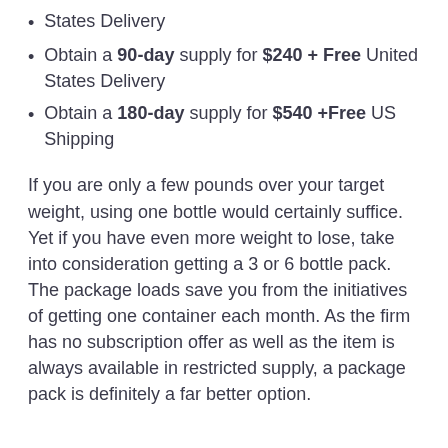States Delivery
Obtain a 90-day supply for $240 + Free United States Delivery
Obtain a 180-day supply for $540 +Free US Shipping
If you are only a few pounds over your target weight, using one bottle would certainly suffice. Yet if you have even more weight to lose, take into consideration getting a 3 or 6 bottle pack. The package loads save you from the initiatives of getting one container each month. As the firm has no subscription offer as well as the item is always available in restricted supply, a package pack is definitely a far better option.